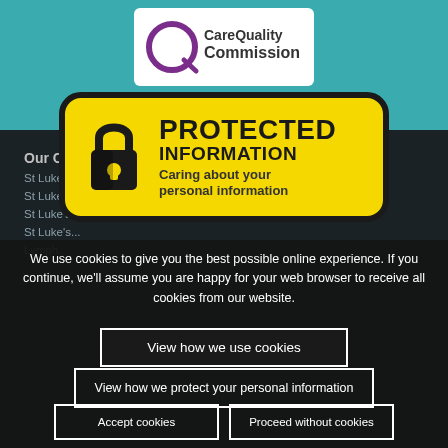[Figure (logo): Care Quality Commission logo in white rounded rectangle on teal background]
[Figure (infographic): Yellow rounded rectangle badge with black border showing a padlock icon and text 'PROTECTED INFORMATION - Caring about your personal information']
We use cookies to give you the best possible online experience. If you continue, we'll assume you are happy for your web browser to receive all cookies from our website.
View how we use cookies
Our Care
Support Us
St Luke's at home
Donate
St Luke's hospice services
Fundraising
St Luke's at Dernford
Volunteering
View how we protect your personal information
Accept cookies
Proceed without cookies